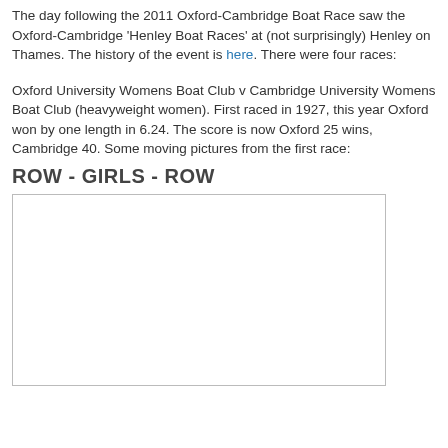The day following the 2011 Oxford-Cambridge Boat Race saw the Oxford-Cambridge 'Henley Boat Races' at (not surprisingly) Henley on Thames. The history of the event is here. There were four races:
Oxford University Womens Boat Club v Cambridge University Womens Boat Club (heavyweight women). First raced in 1927, this year Oxford won by one length in 6.24. The score is now Oxford 25 wins, Cambridge 40. Some moving pictures from the first race:
ROW - GIRLS - ROW
[Figure (photo): A blank/white rectangular image placeholder with a thin gray border, representing a photo from the first race.]